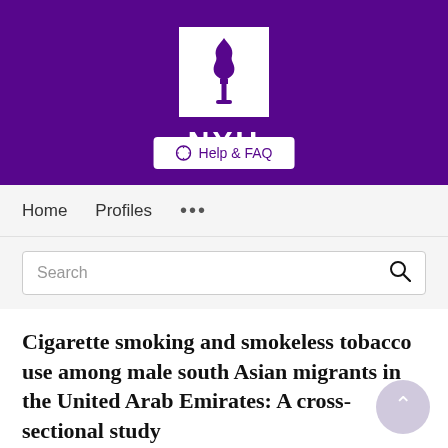[Figure (logo): NYU (New York University) logo: white torch/flame icon on purple background with 'NYU' text below in purple on white, inside a white square box. Purple banner header with a 'Help & FAQ' button.]
Home   Profiles   ...
Search
Cigarette smoking and smokeless tobacco use among male south Asian migrants in the United Arab Emirates: A cross-sectional study